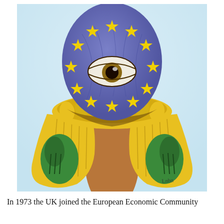[Figure (illustration): A hand-drawn colored pencil illustration depicting a stylized figure wearing a balaclava/ski-mask decorated with the EU flag pattern (blue with yellow stars arranged in a circle), with a single large eye visible. The figure wears a voluminous yellow cape or shawl with fur-like trim around the neck, green mittens/gloves, and a brown torso visible in the center. The background is light blue. Artist signature 'Larbn' or similar appears in lower right of the illustration.]
In 1973 the UK joined the European Economic Community